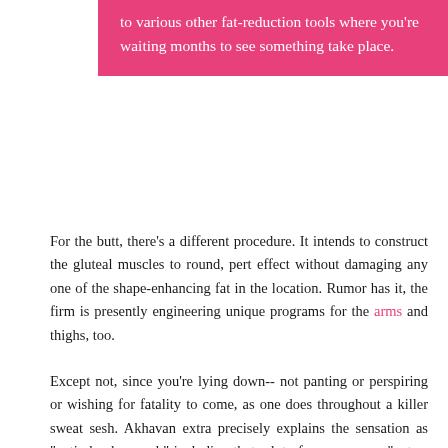to various other fat-reduction tools where you're waiting months to see something take place.
For the butt, there's a different procedure. It intends to construct the gluteal muscles to round, pert effect without damaging any one of the shape-enhancing fat in the location. Rumor has it, the firm is presently engineering unique programs for the arms and thighs, too.
Except not, since you're lying down-- not panting or perspiring or wishing for fatality to come, as one does throughout a killer sweat sesh. Akhavan extra precisely explains the sensation as "entirely abnormal," including that a lot of every person "gets a little frightened at the two-minute mark," since it feels also incorrect to be.